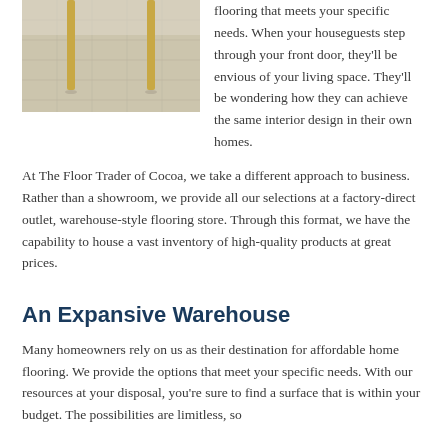[Figure (photo): Interior photo showing light-colored tile or vinyl flooring with wooden furniture legs visible, taken from ground level perspective.]
flooring that meets your specific needs. When your houseguests step through your front door, they'll be envious of your living space. They'll be wondering how they can achieve the same interior design in their own homes.
At The Floor Trader of Cocoa, we take a different approach to business. Rather than a showroom, we provide all our selections at a factory-direct outlet, warehouse-style flooring store. Through this format, we have the capability to house a vast inventory of high-quality products at great prices.
An Expansive Warehouse
Many homeowners rely on us as their destination for affordable home flooring. We provide the options that meet your specific needs. With our resources at your disposal, you're sure to find a surface that is within your budget. The possibilities are limitless, so